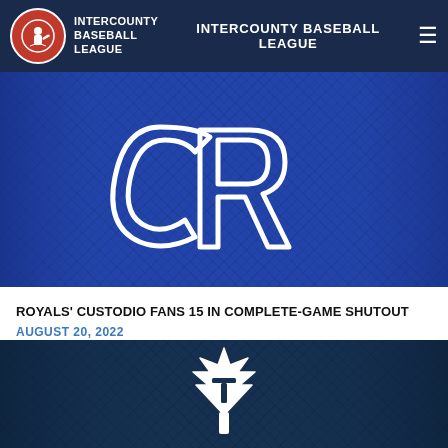INTERCOUNTY BASEBALL LEAGUE  INTERCOUNTY BASEBALL LEAGUE
[Figure (photo): Blue baseball jersey with stylized CR logo in white outline, close-up mesh texture visible]
ROYALS' CUSTODIO FANS 15 IN COMPLETE-GAME SHUTOUT
AUGUST 20, 2022
[Figure (photo): Dark navy/teal baseball jersey with white maple leaf and T logo, close-up mesh texture visible]